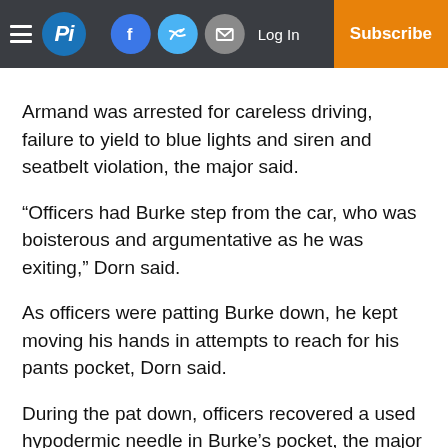Pi — navigation bar with hamburger menu, logo, social icons (Facebook, Twitter, Email), Log In, Subscribe
Armand was arrested for careless driving, failure to yield to blue lights and siren and seatbelt violation, the major said.
“Officers had Burke step from the car, who was boisterous and argumentative as he was exiting,” Dorn said.
As officers were patting Burke down, he kept moving his hands in attempts to reach for his pants pocket, Dorn said.
During the pat down, officers recovered a used hypodermic needle in Burke’s pocket, the major